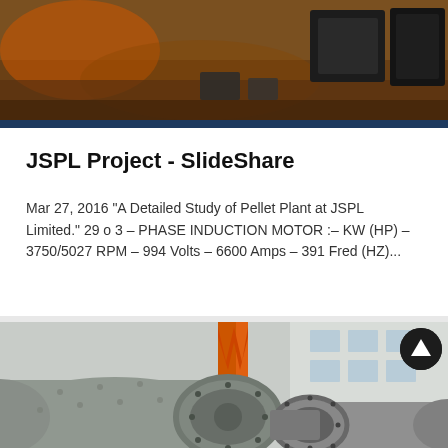[Figure (photo): Industrial plant interior with heavy machinery/equipment on an orange-lit factory floor, viewed from above]
JSPL Project - SlideShare
Mar 27, 2016 "A Detailed Study of Pellet Plant at JSPL Limited." 29 o 3 – PHASE INDUCTION MOTOR :– KW (HP) – 3750/5027 RPM – 994 Volts – 6600 Amps – 391 Fred (HZ)...
[Figure (photo): Large industrial ball mill cylinders (grey metal) with flanged ends, photographed outdoors with orange crane structure visible in background]